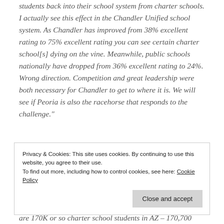students back into their school system from charter schools. I actually see this effect in the Chandler Unified school system. As Chandler has improved from 38% excellent rating to 75% excellent rating you can see certain charter school[s] dying on the vine. Meanwhile, public schools nationally have dropped from 36% excellent rating to 24%. Wrong direction. Competition and great leadership were both necessary for Chandler to get to where it is. We will see if Peoria is also the racehorse that responds to the challenge."
Privacy & Cookies: This site uses cookies. By continuing to use this website, you agree to their use. To find out more, including how to control cookies, see here: Cookie Policy
are 170K or so charter school students in AZ – 170,700